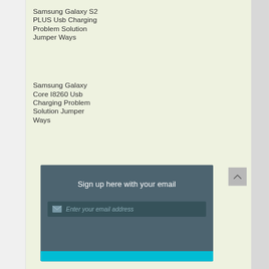Samsung Galaxy S2 PLUS Usb Charging Problem Solution Jumper Ways
Samsung Galaxy Core I8260 Usb Charging Problem Solution Jumper Ways
[Figure (screenshot): Email sign-up widget with dark teal background, text 'Sign up here with your email', an email input field with envelope icon and placeholder 'Enter your email address', and a teal submit button bar at the bottom.]